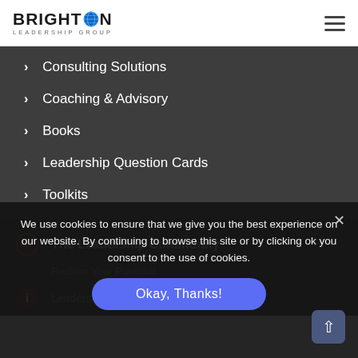Brighton Leadership Group
Consulting Solutions
Coaching & Advisory
Books
Leadership Question Cards
Toolkits
The Leadership Community
Reclaim Your Potential
Leadership...
We use cookies to ensure that we give you the best experience on our website. By continuing to browse this site or by clicking ok you consent to the use of cookies.
Okay, Thanks!